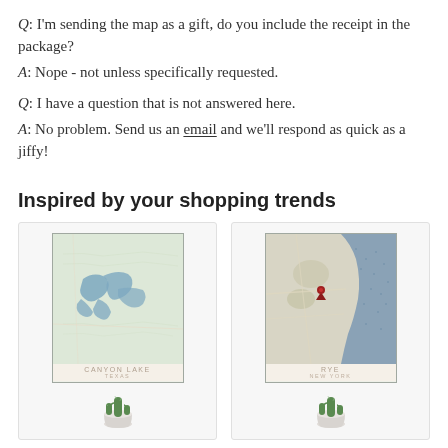Q: I'm sending the map as a gift, do you include the receipt in the package?
A: Nope - not unless specifically requested.
Q: I have a question that is not answered here.
A: No problem. Send us an email and we'll respond as quick as a jiffy!
Inspired by your shopping trends
[Figure (photo): Product card showing a framed map print of Canyon Lake, Texas with a small cactus plant below it]
[Figure (photo): Product card showing a framed map print of Rye, New York with a small cactus plant below it]